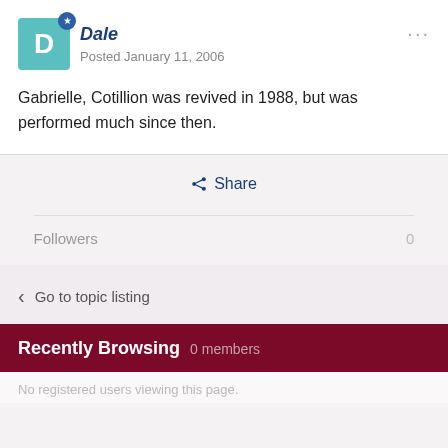Dale
Posted January 11, 2006
Gabrielle, Cotillion was revived in 1988, but was performed much since then.
Share
Followers   0
Go to topic listing
Recently Browsing   0 members
No registered users viewing this page.